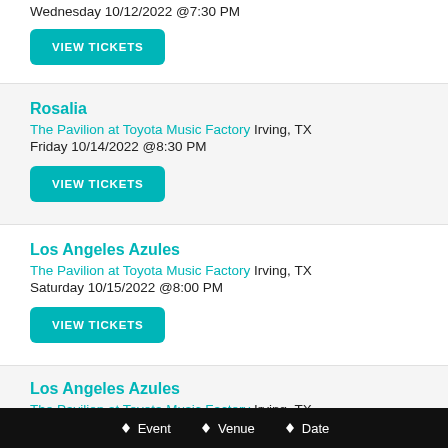Wednesday 10/12/2022 @7:30 PM
VIEW TICKETS
Rosalia
The Pavilion at Toyota Music Factory Irving, TX
Friday 10/14/2022 @8:30 PM
VIEW TICKETS
Los Angeles Azules
The Pavilion at Toyota Music Factory Irving, TX
Saturday 10/15/2022 @8:00 PM
VIEW TICKETS
Los Angeles Azules
The Pavilion at Toyota Music Factory Irving, TX
Event   Venue   Date